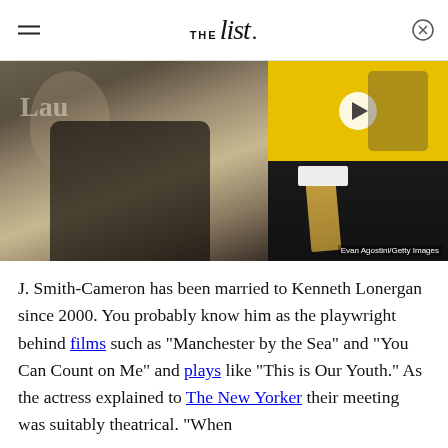THE List
[Figure (photo): Left: J. Smith-Cameron with curly blonde hair and black top at an event (Evan Agostini/Getty Images). Top right: Woman with dark hair and glasses against yellow background with play button overlay. Bottom right: Man in black suit with gold tie.]
J. Smith-Cameron has been married to Kenneth Lonergan since 2000. You probably know him as the playwright behind films such as "Manchester by the Sea" and "You Can Count on Me" and plays like "This is Our Youth." As the actress explained to The New Yorker their meeting was suitably theatrical. "When